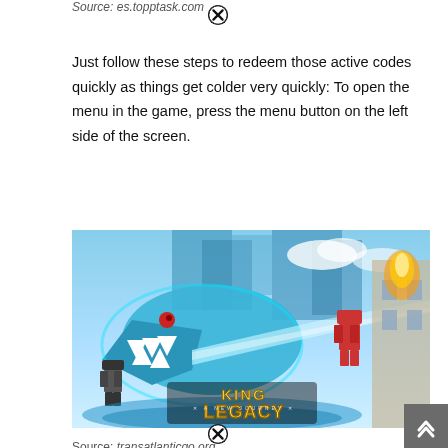Source: es.topptask.com
Just follow these steps to redeem those active codes quickly as things get colder very quickly: To open the menu in the game, press the menu button on the left side of the screen.
[Figure (screenshot): King Legacy Roblox game promotional artwork showing blocky characters fighting a large ice shark monster, with the King Legacy logo at the bottom center.]
Source: transatlanticgo.org